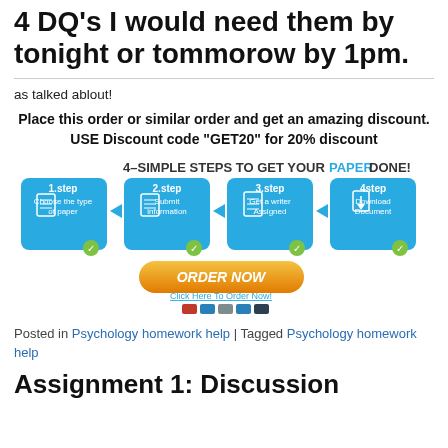4 DQ's I would need them by tonight or tommorow by 1pm.
as talked ablout!
Place this order or similar order and get an amazing discount. USE Discount code “GET20” for 20% discount
[Figure (infographic): 4 simple steps to get your paper done: 1.step Choose the type of paper, 2.step Submit information, 3.step Get a writer Assigned, 4.step Download Document. ORDER NOW button, Click Here To Order Now!, payment icons.]
Posted in Psychology homework help | Tagged Psychology homework help
Assignment 1: Discussion